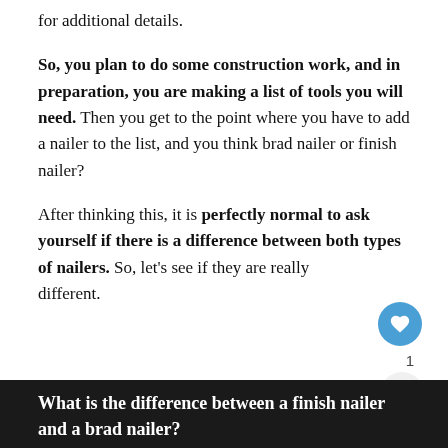for additional details.
So, you plan to do some construction work, and in preparation, you are making a list of tools you will need. Then you get to the point where you have to add a nailer to the list, and you think brad nailer or finish nailer?
After thinking this, it is perfectly normal to ask yourself if there is a difference between both types of nailers. So, let’s see if they are really different.
What is the difference between a finish nailer and a brad nailer?